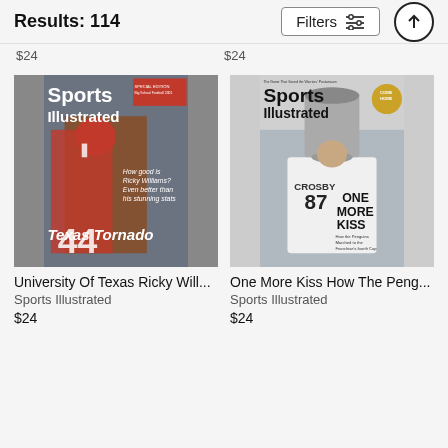Results: 114
$24
$24
[Figure (photo): Sports Illustrated magazine cover featuring Ricky Williams of University of Texas, titled 'Texas Tornado'. Text reads: 'How good is Ricky Williams? Even better than his stunning stats']
University Of Texas Ricky Will...
Sports Illustrated
$24
[Figure (photo): Sports Illustrated magazine cover featuring Sidney Crosby #87 holding the Stanley Cup. Text reads: 'ONE MORE KISS - How the Penguins Marched to the Franchise's fourth Cup']
One More Kiss How The Peng...
Sports Illustrated
$24